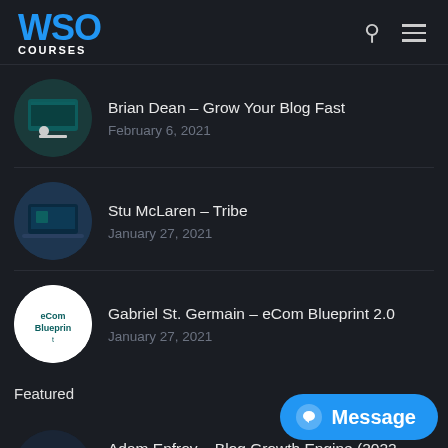WSO COURSES
Brian Dean – Grow Your Blog Fast
February 6, 2021
Stu McLaren – Tribe
January 27, 2021
Gabriel St. Germain – eCom Blueprint 2.0
January 27, 2021
Featured
Adam Enfroy – Blog Growth Engine (2022 UPDATE)
May 7, 2022
Iman Gadzhi – Agency Navigator (2022 UPDATE)
Message